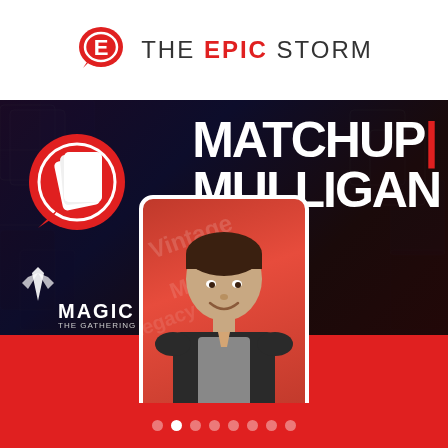THE EPIC STORM
[Figure (illustration): The Epic Storm podcast/website branded promotional image. Dark card-game background (Magic: The Gathering cards) with bold white text 'MATCHUP MULLIGAN' and vertical red bar accent, 'KEEP OR MULL?' subtitle. Left side shows TES logo (red speech bubble with white E and chat bubble), Magic: The Gathering logo at bottom left. Center features a photo of a man in a vest smiling, set against a red-background portrait with white rounded-rectangle frame. Bottom section is bright red.]
MATCHUP | MULLIGAN — KEEP OR MULL?